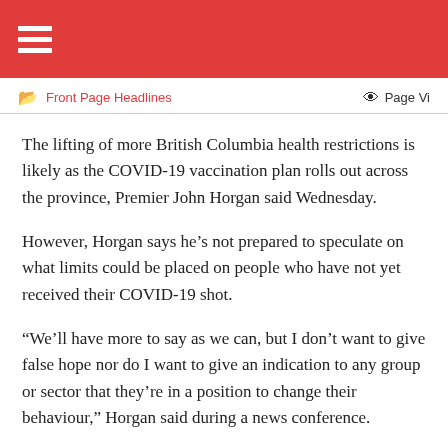Front Page Headlines   Page Vi
The lifting of more British Columbia health restrictions is likely as the COVID-19 vaccination plan rolls out across the province, Premier John Horgan said Wednesday.
However, Horgan says he’s not prepared to speculate on what limits could be placed on people who have not yet received their COVID-19 shot.
“We’ll have more to say as we can, but I don’t want to give false hope nor do I want to give an indication to any group or sector that they’re in a position to change their behaviour,” Horgan said during a news conference.